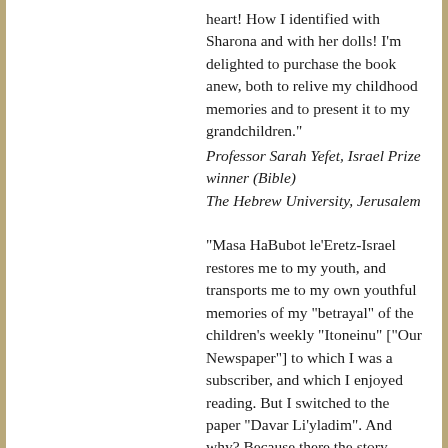heart! How I identified with Sharona and with her dolls! I'm delighted to purchase the book anew, both to relive my childhood memories and to present it to my grandchildren."
Professor Sarah Yefet, Israel Prize winner (Bible)
The Hebrew University, Jerusalem
"Masa HaBubot le'Eretz-Israel restores me to my youth, and transports me to my own youthful memories of my "betrayal" of the children's weekly "Itoneinu" ["Our Newspaper"] to which I was a subscriber, and which I enjoyed reading. But I switched to the paper "Davar Li'yladim". And why? Because there the story "Masa HaBubot" appeared in